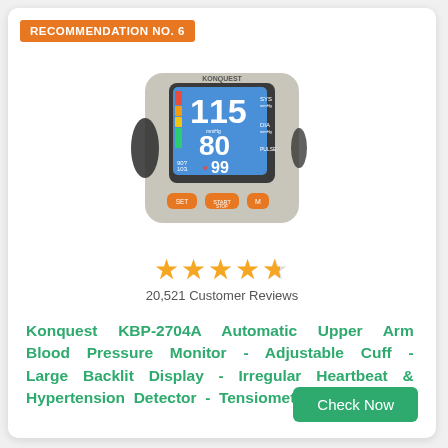RECOMMENDATION NO. 6
[Figure (photo): Konquest KBP-2704A automatic upper arm blood pressure monitor with blue backlit LCD display showing 115 SYS, 80 DIA, 99 PULSE, and three orange buttons labeled SET, START/STOP, and M.]
20,521 Customer Reviews
Konquest KBP-2704A Automatic Upper Arm Blood Pressure Monitor - Adjustable Cuff - Large Backlit Display - Irregular Heartbeat & Hypertension Detector - Tensiometro Digital
Check Now